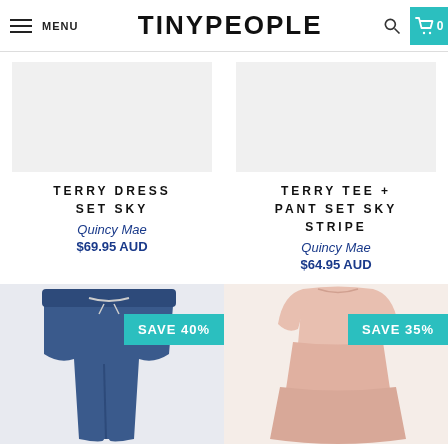MENU | TiNYPEOPLE | 0
TERRY DRESS SET SKY
Quincy Mae
$69.95 AUD
TERRY TEE + PANT SET SKY STRIPE
Quincy Mae
$64.95 AUD
[Figure (photo): Blue denim-style jogger pants with drawstring waist and SAVE 40% badge]
[Figure (photo): Pink long-sleeve tiered dress with SAVE 35% badge]